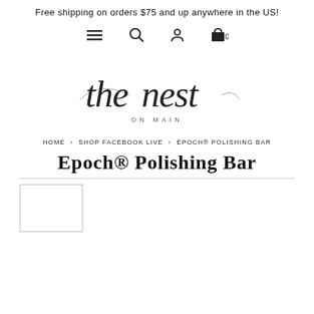Free shipping on orders $75 and up anywhere in the US!
[Figure (other): Navigation icons: hamburger menu, search, account, cart with 0]
[Figure (logo): The Nest On Main logo in cursive script]
HOME › SHOP FACEBOOK LIVE › EPOCH® POLISHING BAR
Epoch® Polishing Bar
[Figure (photo): Product thumbnail image placeholder for Epoch Polishing Bar]